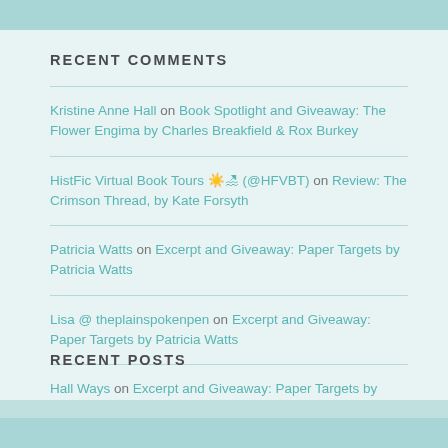RECENT COMMENTS
Kristine Anne Hall on Book Spotlight and Giveaway: The Flower Engima by Charles Breakfield & Rox Burkey
HistFic Virtual Book Tours 🌞🏖 (@HFVBT) on Review: The Crimson Thread, by Kate Forsyth
Patricia Watts on Excerpt and Giveaway: Paper Targets by Patricia Watts
Lisa @ theplainspokenpen on Excerpt and Giveaway: Paper Targets by Patricia Watts
Hall Ways on Excerpt and Giveaway: Paper Targets by Patricia Watts
RECENT POSTS